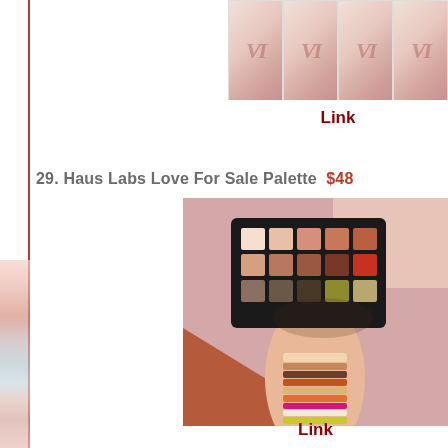[Figure (photo): Partial view of a previous product item showing repeating 'VI' logo pattern on packaging, cropped at top of page]
Link
29. Haus Labs Love For Sale Palette  $48
[Figure (photo): Hand holding a Haus Labs Love For Sale eyeshadow palette with 15 shades in warm earth tones, with color swatches applied on the forearm showing neutrals, browns, reds, pink, and gold/shimmer shades. Background is mauve pink and rust orange.]
Link